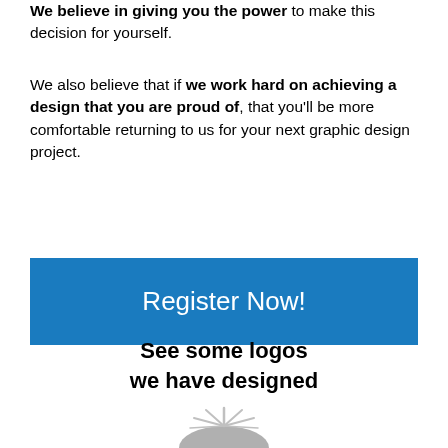We believe in giving you the power to make this decision for yourself.
We also believe that if we work hard on achieving a design that you are proud of, that you'll be more comfortable returning to us for your next graphic design project.
Register Now!
See some logos we have designed
[Figure (illustration): Partial illustration of a logo design featuring a grey mountain or arch shape with rays, cropped at the bottom edge of the page.]